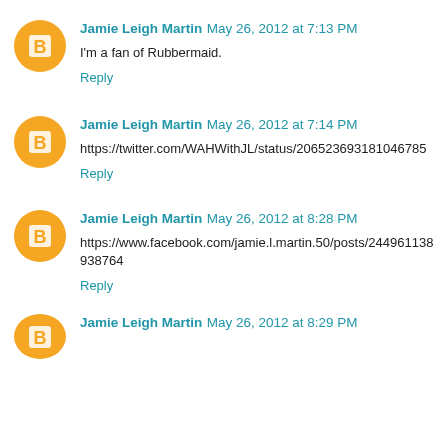Jamie Leigh Martin May 26, 2012 at 7:13 PM
I'm a fan of Rubbermaid.
Reply
Jamie Leigh Martin May 26, 2012 at 7:14 PM
https://twitter.com/WAHWithJL/status/206523693181046785
Reply
Jamie Leigh Martin May 26, 2012 at 8:28 PM
https://www.facebook.com/jamie.l.martin.50/posts/244961138938764
Reply
Jamie Leigh Martin May 26, 2012 at 8:29 PM